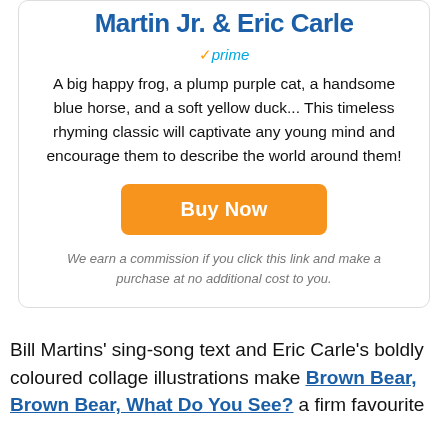Martin Jr. & Eric Carle
prime
A big happy frog, a plump purple cat, a handsome blue horse, and a soft yellow duck... This timeless rhyming classic will captivate any young mind and encourage them to describe the world around them!
Buy Now
We earn a commission if you click this link and make a purchase at no additional cost to you.
Bill Martins' sing-song text and Eric Carle's boldly coloured collage illustrations make Brown Bear, Brown Bear, What Do You See? a firm favourite